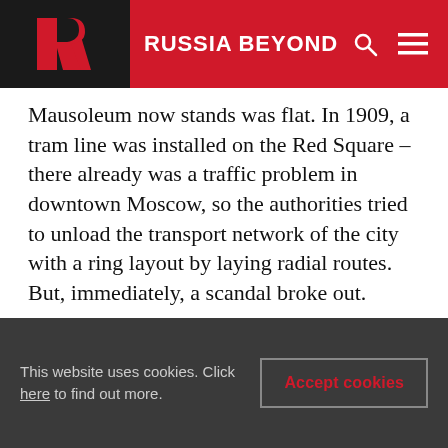RUSSIA BEYOND
Mausoleum now stands was flat. In 1909, a tram line was installed on the Red Square – there already was a traffic problem in downtown Moscow, so the authorities tried to unload the transport network of the city with a ring layout by laying radial routes. But, immediately, a scandal broke out.
The line initially crossed the Red Square near the Upper Trading Rows (where the GUM Department store now stands). Enraged with the contemporary machinery's intrusion into the ancient forum
This website uses cookies. Click here to find out more.